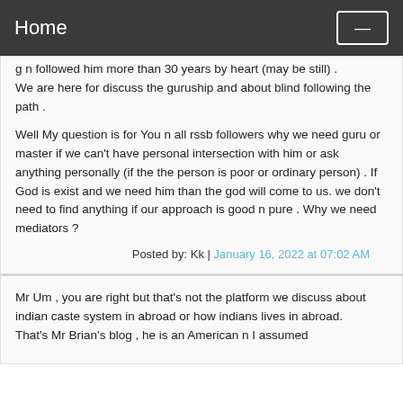Home
g n followed him more than 30 years by heart (may be still) .
We are here for discuss the guruship and about blind following the path .
Well My question is for You n all rssb followers why we need guru or master if we can't have personal intersection with him or ask anything personally (if the the person is poor or ordinary person) . If God is exist and we need him than the god will come to us. we don't need to find anything if our approach is good n pure . Why we need mediators ?
Posted by: Kk | January 16, 2022 at 07:02 AM
Mr Um , you are right but that's not the platform we discuss about indian caste system in abroad or how indians lives in abroad.
That's Mr Brian's blog , he is an American n I assumed